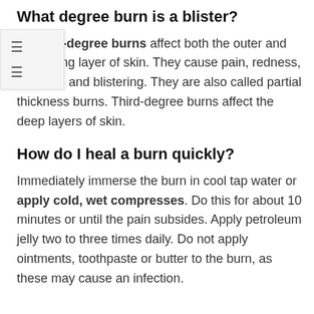What degree burn is a blister?
Second-degree burns affect both the outer and underlying layer of skin. They cause pain, redness, swelling, and blistering. They are also called partial thickness burns. Third-degree burns affect the deep layers of skin.
How do I heal a burn quickly?
Immediately immerse the burn in cool tap water or apply cold, wet compresses. Do this for about 10 minutes or until the pain subsides. Apply petroleum jelly two to three times daily. Do not apply ointments, toothpaste or butter to the burn, as these may cause an infection.